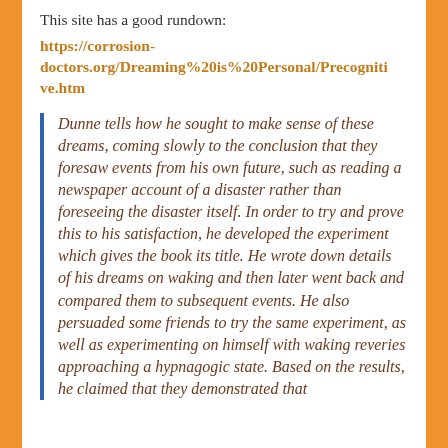This site has a good rundown:
https://corrosion-doctors.org/Dreaming%20is%20Personal/Precognitive.htm
Dunne tells how he sought to make sense of these dreams, coming slowly to the conclusion that they foresaw events from his own future, such as reading a newspaper account of a disaster rather than foreseeing the disaster itself. In order to try and prove this to his satisfaction, he developed the experiment which gives the book its title. He wrote down details of his dreams on waking and then later went back and compared them to subsequent events. He also persuaded some friends to try the same experiment, as well as experimenting on himself with waking reveries approaching a hypnagogic state. Based on the results, he claimed that they demonstrated that